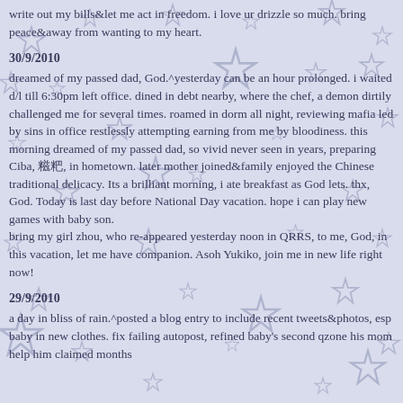write out my bills&let me act in freedom. i love ur drizzle so much. bring peace&away from wanting to my heart.
30/9/2010
dreamed of my passed dad, God.^yesterday can be an hour prolonged. i waited d/l till 6:30pm left office. dined in debt nearby, where the chef, a demon dirtily challenged me for several times. roamed in dorm all night, reviewing mafia led by sins in office restlessly attempting earning from me by bloodiness. this morning dreamed of my passed dad, so vivid never seen in years, preparing Ciba, 糍粑, in hometown. later mother joined&family enjoyed the Chinese traditional delicacy. Its a brilliant morning, i ate breakfast as God lets. thx, God. Today is last day before National Day vacation. hope i can play new games with baby son. bring my girl zhou, who re-appeared yesterday noon in QRRS, to me, God, in this vacation, let me have companion. Asoh Yukiko, join me in new life right now!
29/9/2010
a day in bliss of rain.^posted a blog entry to include recent tweets&photos, esp baby in new clothes. fix failing autopost, refined baby's second qzone his mom help him claimed months